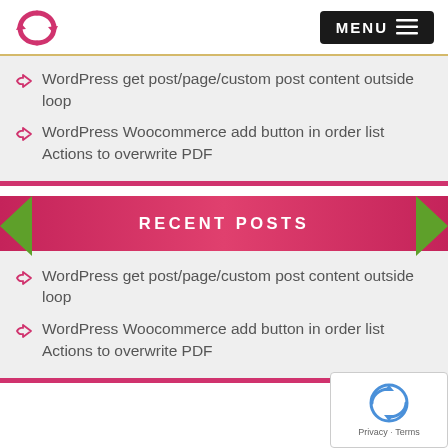MENU
WordPress get post/page/custom post content outside loop
WordPress Woocommerce add button in order list Actions to overwrite PDF
RECENT POSTS
WordPress get post/page/custom post content outside loop
WordPress Woocommerce add button in order list Actions to overwrite PDF